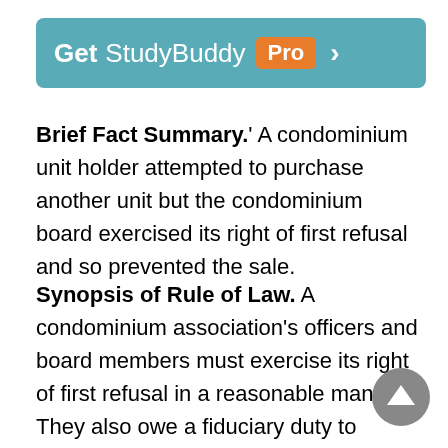[Figure (other): StudyBuddy Pro promotional banner — teal rounded rectangle with white text 'Get StudyBuddy Pro >']
Brief Fact Summary.' A condominium unit holder attempted to purchase another unit but the condominium board exercised its right of first refusal and so prevented the sale.
Synopsis of Rule of Law. A condominium association's officers and board members must exercise its right of first refusal in a reasonable manner. They also owe a fiduciary duty to members of the association, so they must act in a manner reasonably related to that duty, and failure